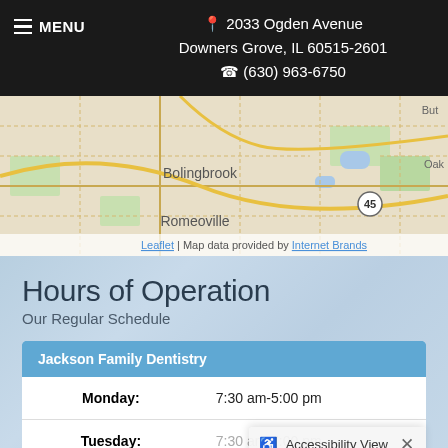☰ MENU   📍 2033 Ogden Avenue Downers Grove, IL 60515-2601  ☎ (630) 963-6750
[Figure (map): Street map showing Bolingbrook and Romeoville area with roads. Leaflet | Map data provided by Internet Brands.]
Hours of Operation
Our Regular Schedule
| Jackson Family Dentistry |  |
| --- | --- |
| Monday: | 7:30 am-5:00 pm |
| Tuesday: | 7:30 am-7:00 pm |
♿ Accessibility View  ×